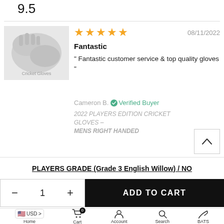9.5
[Figure (photo): Photo of cricket batting gloves, white gloves being worn on hands]
★★★★★   08/11/2022
Fantastic
" Fantastic customer service & top quality gloves "
Cameron B. ✅ Verified Buyer
2022 PLAYERS EDITION CRICKET GLOVES – MENS RIGHT HANDED
PLAYERS GRADE (Grade 3 English Willow) / NO
- 1 +
ADD TO CART
USD > Cart 0 Home Account Search BATS